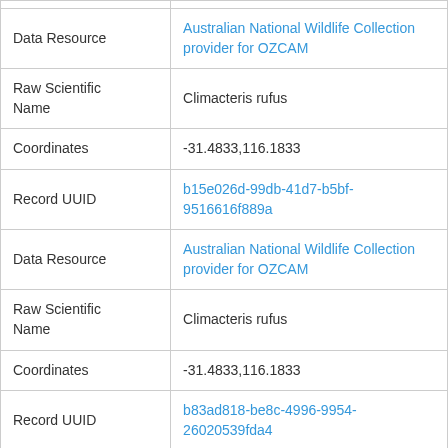| Field | Value |
| --- | --- |
| Data Resource | Australian National Wildlife Collection provider for OZCAM |
| Raw Scientific Name | Climacteris rufus |
| Coordinates | -31.4833,116.1833 |
| Record UUID | b15e026d-99db-41d7-b5bf-9516616f889a |
| Data Resource | Australian National Wildlife Collection provider for OZCAM |
| Raw Scientific Name | Climacteris rufus |
| Coordinates | -31.4833,116.1833 |
| Record UUID | b83ad818-be8c-4996-9954-26020539fda4 |
| Data Resource | Australian National Wildlife Collection provider for OZCAM |
| Raw Scientific Name | Climacteris rufus |